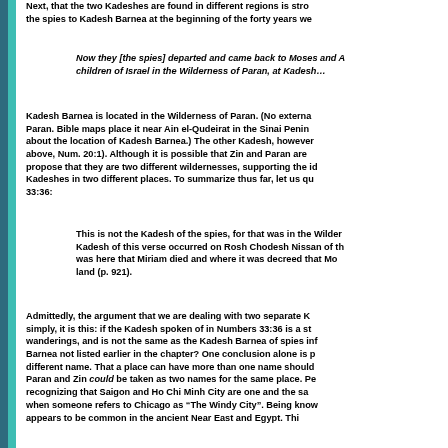Next, that the two Kadeshes are found in different regions is stro... the spies to Kadesh Barnea at the beginning of the forty years we...
Now they [the spies] departed and came back to Moses and A... children of Israel in the Wilderness of Paran, at Kadesh…
Kadesh Barnea is located in the Wilderness of Paran. (No externa... Paran. Bible maps place it near Ain el-Qudeirat in the Sinai Penin... about the location of Kadesh Barnea.) The other Kadesh, however... above, Num. 20:1). Although it is possible that Zin and Paran are... propose that they are two different wildernesses, supporting the id... Kadeshes in two different places. To summarize thus far, let us qu... 33:36:
This is not the Kadesh of the spies, for that was in the Wilder... Kadesh of this verse occurred on Rosh Chodesh Nissan of th... was here that Miriam died and where it was decreed that Mo... land (p. 921).
Admittedly, the argument that we are dealing with two separate K... simply, it is this: if the Kadesh spoken of in Numbers 33:36 is a st... wanderings, and is not the same as the Kadesh Barnea of spies in... Barnea not listed earlier in the chapter? One conclusion alone is p... different name. That a place can have more than one name should... Paran and Zin could be taken as two names for the same place. Pe... recognizing that Saigon and Ho Chi Minh City are one and the sa... when someone refers to Chicago as "The Windy City". Being know... appears to be common in the ancient Near East and Egypt. Thi...